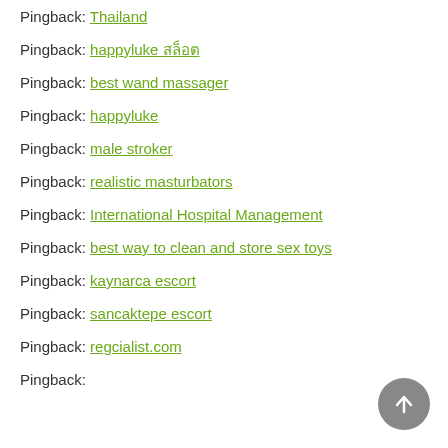Pingback: Thailand
Pingback: happyluke สล็อต
Pingback: best wand massager
Pingback: happyluke
Pingback: male stroker
Pingback: realistic masturbators
Pingback: International Hospital Management
Pingback: best way to clean and store sex toys
Pingback: kaynarca escort
Pingback: sancaktepe escort
Pingback: regcialist.com
Pingback: (truncated)